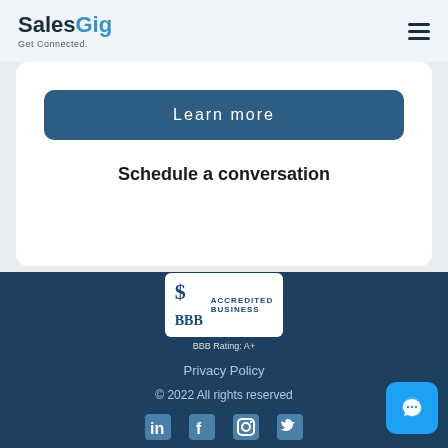SalesGig – Get Connected.
Learn more
Schedule a conversation
[Figure (logo): BBB Accredited Business badge with rating A+]
Privacy Policy
© 2022 All rights reserved
[Figure (illustration): Social media icons: LinkedIn, Facebook, Instagram, Twitter]